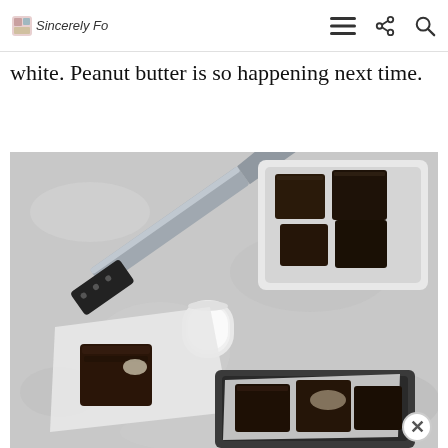Sincerely Fo [navigation icons: hamburger menu, share, search]
white. Peanut butter is so happening next time.
[Figure (photo): Overhead flat-lay food photography of chocolate brownies on a grey stone surface. A large chef's knife is visible in the upper left. A white square dish holds multiple brownie pieces in the upper right. A glass of milk sits in the center. A brownie piece on crumpled white parchment paper is in the lower left. A dark tray with more brownies wrapped in parchment is in the lower right.]